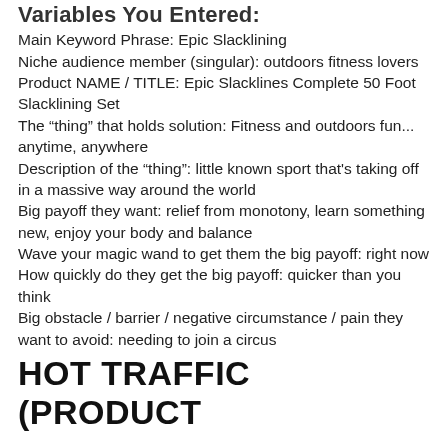Variables You Entered:
Main Keyword Phrase: Epic Slacklining
Niche audience member (singular): outdoors fitness lovers
Product NAME / TITLE: Epic Slacklines Complete 50 Foot Slacklining Set
The “thing” that holds solution: Fitness and outdoors fun... anytime, anywhere
Description of the “thing”: little known sport that's taking off in a massive way around the world
Big payoff they want: relief from monotony, learn something new, enjoy your body and balance
Wave your magic wand to get them the big payoff: right now
How quickly do they get the big payoff: quicker than you think
Big obstacle / barrier / negative circumstance / pain they want to avoid: needing to join a circus
HOT TRAFFIC (PRODUCT